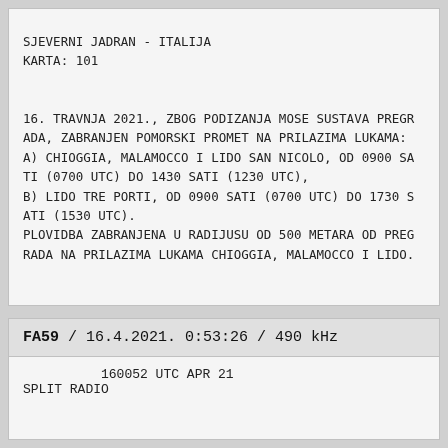SJEVERNI JADRAN - ITALIJA
KARTA: 101

16. TRAVNJA 2021., ZBOG PODIZANJA MOSE SUSTAVA PREGRADA, ZABRANJEN POMORSKI PROMET NA PRILAZIMA LUKAMA:
A) CHIOGGIA, MALAMOCCO I LIDO SAN NICOLO, OD 0900 SATI (0700 UTC) DO 1430 SATI (1230 UTC),
B) LIDO TRE PORTI, OD 0900 SATI (0700 UTC) DO 1730 SATI (1530 UTC).
PLOVIDBA ZABRANJENA U RADIJUSU OD 500 METARA OD PREGRADA NA PRILAZIMA LUKAMA CHIOGGIA, MALAMOCCO I LIDO.
FA59 / 16.4.2021. 0:53:26 / 490 kHz
160052 UTC APR 21
SPLIT RADIO